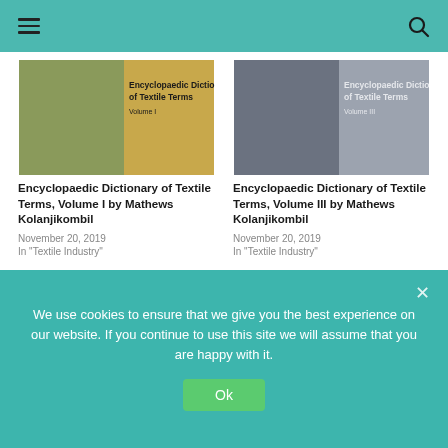Navigation bar with hamburger menu and search icon
[Figure (illustration): Book cover for Encyclopaedic Dictionary of Textile Terms Volume I — olive green and gold split cover]
Encyclopaedic Dictionary of Textile Terms, Volume I by Mathews Kolanjikombil
November 20, 2019
In "Textile Industry"
[Figure (illustration): Book cover for Encyclopaedic Dictionary of Textile Terms Volume III — grey cover]
Encyclopaedic Dictionary of Textile Terms, Volume III by Mathews Kolanjikombil
November 20, 2019
In "Textile Industry"
[Figure (illustration): Book cover for Encyclopaedic Dictionary — colorful swirl pink/yellow/orange cover]
[Figure (illustration): Book cover for Textile Dictionary / Textiltechnisches Worterbuch — dark blue cover]
We use cookies to ensure that we give you the best experience on our website. If you continue to use this site we will assume that you are happy with it.